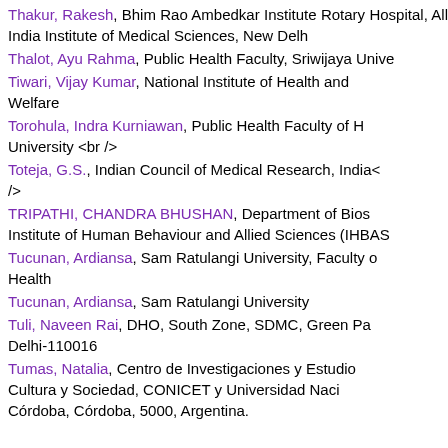Thakur, Rakesh, Bhim Rao Ambedkar Institute Rotary Hospital, All India Institute of Medical Sciences, New Delhi
Thalot, Ayu Rahma, Public Health Faculty, Sriwijaya University
Tiwari, Vijay Kumar, National Institute of Health and Family Welfare
Torohula, Indra Kurniawan, Public Health Faculty of Hasanuddin University <br />
Toteja, G.S., Indian Council of Medical Research, India<br />
TRIPATHI, CHANDRA BHUSHAN, Department of Biostatistics, Institute of Human Behaviour and Allied Sciences (IHBAS)
Tucunan, Ardiansa, Sam Ratulangi University, Faculty of Public Health
Tucunan, Ardiansa, Sam Ratulangi University
Tuli, Naveen Rai, DHO, South Zone, SDMC, Green Park, New Delhi-110016
Tumas, Natalia, Centro de Investigaciones y Estudios sobre Cultura y Sociedad, CONICET y Universidad Nacional de Córdoba, Córdoba, 5000, Argentina.